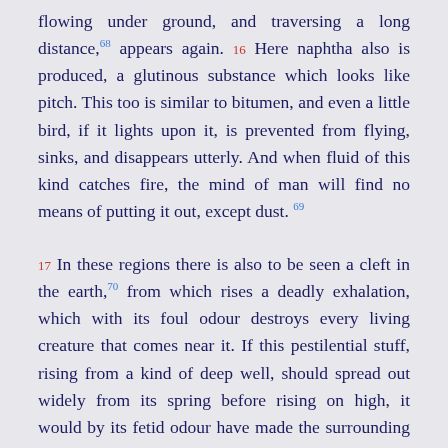flowing under ground, and traversing a long distance,68 appears again. 16 Here naphtha also is produced, a glutinous substance which looks like pitch. This too is similar to bitumen, and even a little bird, if it lights upon it, is prevented from flying, sinks, and disappears utterly. And when fluid of this kind catches fire, the mind of man will find no means of putting it out, except dust.69
17 In these regions there is also to be seen a cleft in the earth,70 from which rises a deadly exhalation, which with its foul odour destroys every living creature that comes near it. If this pestilential stuff, rising from a kind of deep well, should spread out widely from its spring before rising on high, it would by its fetid odour have made the surrounding country a desert. 18 A similar